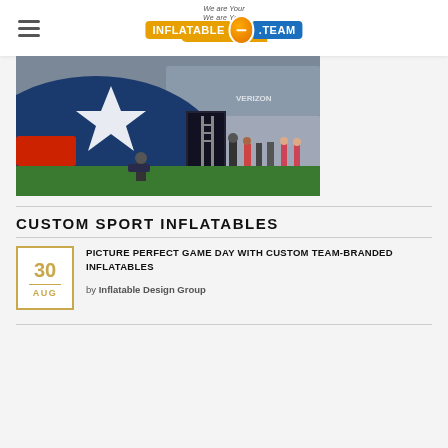We are Your INFLATABLE.TEAM
[Figure (photo): Large inflatable NFL team helmet tunnel on a football field sideline, with cheerleaders and crowd visible in the background]
CUSTOM SPORT INFLATABLES
PICTURE PERFECT GAME DAY WITH CUSTOM TEAM-BRANDED INFLATABLES
by Inflatable Design Group